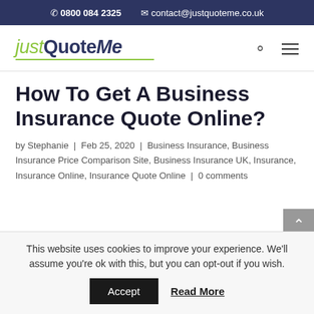0800 084 2325  contact@justquoteme.co.uk
[Figure (logo): justQuoteMe logo with green underline]
How To Get A Business Insurance Quote Online?
by Stephanie | Feb 25, 2020 | Business Insurance, Business Insurance Price Comparison Site, Business Insurance UK, Insurance, Insurance Online, Insurance Quote Online | 0 comments
This website uses cookies to improve your experience. We'll assume you're ok with this, but you can opt-out if you wish.